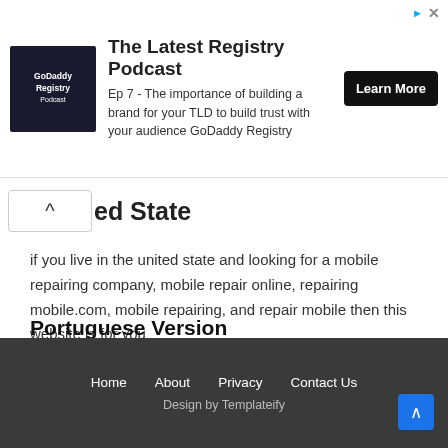[Figure (other): GoDaddy Registry Podcast advertisement banner with podcast icon, title 'The Latest Registry Podcast', episode description, and 'Learn More' button]
ed State
if you live in the united state and looking for a mobile repairing company, mobile repair online, repairing mobile.com, mobile repairing, and repair mobile then this website is for you
Portuguese Version
Now mobile repairing online famous page mobile repairing tools is published in the Portuguese version. to read this page in the Portuguese language click Ferramentas Para Reparar Telemoveis
Home   About   Privacy   Contact Us   Design by Templateify